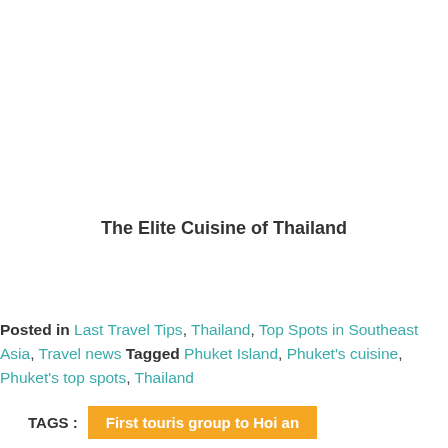The Elite Cuisine of Thailand
Posted in Last Travel Tips, Thailand, Top Spots in Southeast Asia, Travel news Tagged Phuket Island, Phuket's cuisine, Phuket's top spots, Thailand
TAGS : First touris group to Hoi an